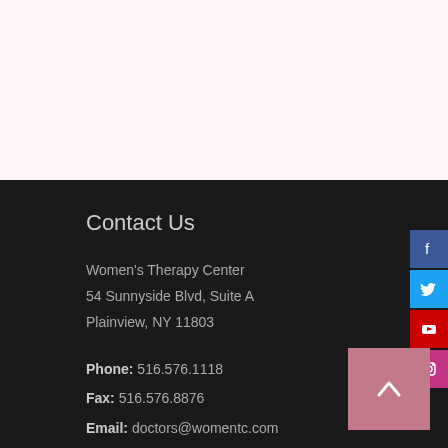Contact Us
Women's Therapy Center
54 Sunnyside Blvd, Suite A
Plainview, NY 11803
Phone: 516.576.1118
Fax: 516.576.8876
Email: doctors@womentc.com